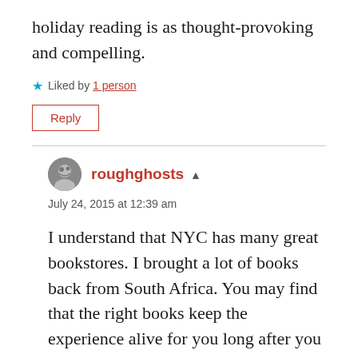holiday reading is as thought-provoking and compelling.
★ Liked by 1 person
Reply
roughghosts
July 24, 2015 at 12:39 am
I understand that NYC has many great bookstores. I brought a lot of books back from South Africa. You may find that the right books keep the experience alive for you long after you return. Have a great vacation!